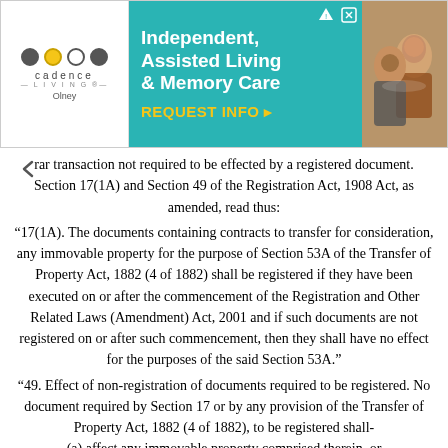[Figure (infographic): Advertisement banner for Cadence Living, Olney — Independent, Assisted Living & Memory Care with REQUEST INFO button and photo of elderly couple]
rar transaction not required to be effected by a registered document. Section 17(1A) and Section 49 of the Registration Act, 1908 Act, as amended, read thus:
“17(1A). The documents containing contracts to transfer for consideration, any immovable property for the purpose of Section 53A of the Transfer of Property Act, 1882 (4 of 1882) shall be registered if they have been executed on or after the commencement of the Registration and Other Related Laws (Amendment) Act, 2001 and if such documents are not registered on or after such commencement, then they shall have no effect for the purposes of the said Section 53A.”
“49. Effect of non-registration of documents required to be registered. No document required by Section 17 or by any provision of the Transfer of Property Act, 1882 (4 of 1882), to be registered shall-
(a) affect any immovable property comprised therein, or
(b) confer any power to adopt, or
(c) be received as evidence of any transaction